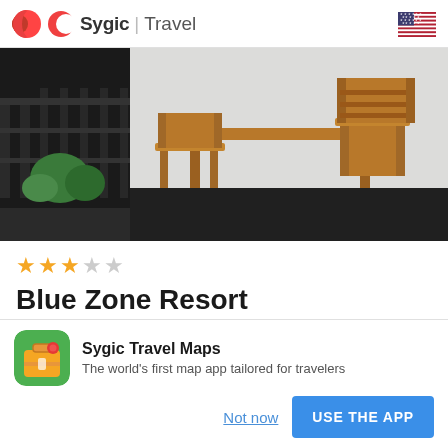Sygic | Travel
[Figure (photo): Outdoor balcony or patio with wooden table and chairs, black metal railing, green plants, white wall background.]
★★★☆☆
Blue Zone Resort
Located in Playa Avellana, 550 metres from
[Figure (other): App banner: Sygic Travel Maps app icon (suitcase on green background). Text: Sygic Travel Maps. The world's first map app tailored for travelers. Buttons: Not now, USE THE APP.]